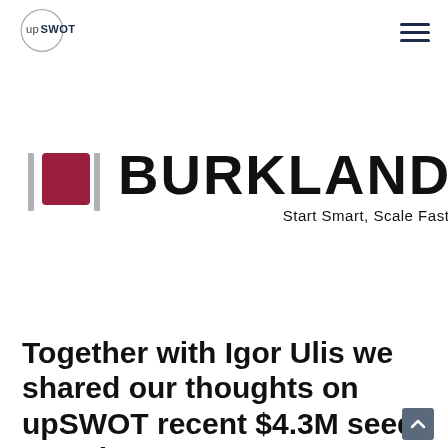upSWOT — navigation header with logo and hamburger menu
[Figure (logo): Burkland logo: dark red rounded square icon with two vertical bars on either side, followed by the word BURKLAND in large bold black letters, with tagline 'Start Smart, Scale Fast' beneath]
Together with Igor Ulis we shared our thoughts on upSWOT recent $4.3M seed round.